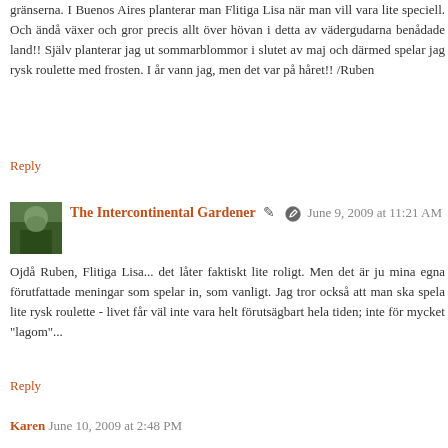gränserna. I Buenos Aires planterar man Flitiga Lisa när man vill vara lite speciell. Och ändå växer och gror precis allt över hövan i detta av vädergudarna benådade land!! Själv planterar jag ut sommarblommor i slutet av maj och därmed spelar jag rysk roulette med frosten. I år vann jag, men det var på håret!! /Ruben
Reply
The Intercontinental Gardener  June 9, 2009 at 11:21 AM
Ojdå Ruben, Flitiga Lisa... det låter faktiskt lite roligt. Men det är ju mina egna förutfattade meningar som spelar in, som vanligt. Jag tror också att man ska spela lite rysk roulette - livet får väl inte vara helt förutsägbart hela tiden; inte för mycket "lagom"...
Reply
Karen  June 10, 2009 at 2:48 PM
What is that curious animal that keeps popping up in your...